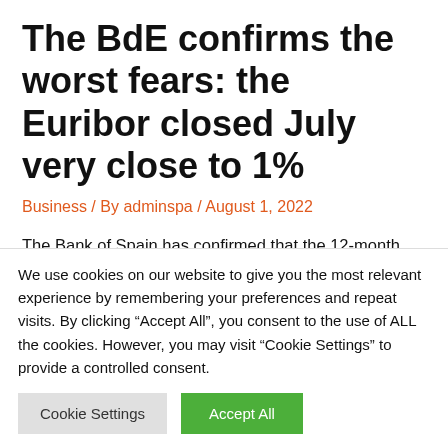The BdE confirms the worst fears: the Euribor closed July very close to 1%
Business / By adminspa / August 1, 2022
The Bank of Spain has confirmed that the 12-month Euribor closed the month of July at a monthly average of 0.992%. This shows that, compared to 0.852% in June, with which the upward trend continues which began at the beginning of 2022, although the data
We use cookies on our website to give you the most relevant experience by remembering your preferences and repeat visits. By clicking “Accept All”, you consent to the use of ALL the cookies. However, you may visit "Cookie Settings" to provide a controlled consent.